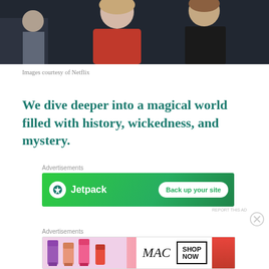[Figure (photo): Dark scene with figure in red top and figure in dark clothing, appearing to be from a Netflix production]
Images courtesy of Netflix
We dive deeper into a magical world filled with history, wickedness, and mystery.
Advertisements
[Figure (other): Jetpack advertisement banner with green background showing Jetpack logo and 'Back up your site' button]
REPORT THIS AD
Advertisements
[Figure (other): MAC Cosmetics advertisement showing lipsticks with 'SHOP NOW' button]
REPORT THIS AD